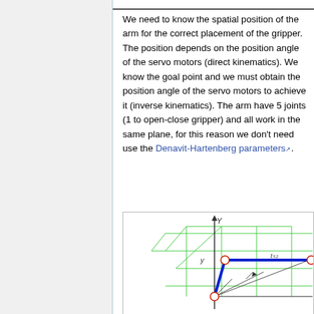We need to know the spatial position of the arm for the correct placement of the gripper. The position depends on the position angle of the servo motors (direct kinematics). We know the goal point and we must obtain the position angle of the servo motors to achieve it (inverse kinematics). The arm have 5 joints (1 to open-close gripper) and all work in the same plane, for this reason we don't need use the Denavit-Hartenberg parameters.
[Figure (engineering-diagram): A 2D kinematic diagram showing a robotic arm with joints marked as red circles, arm segments shown in bold blue lines, coordinate axes (Y vertical, x horizontal), a green grid/isometric structure in background, and thin black lines indicating arm segments reaching from origin to an end point.]